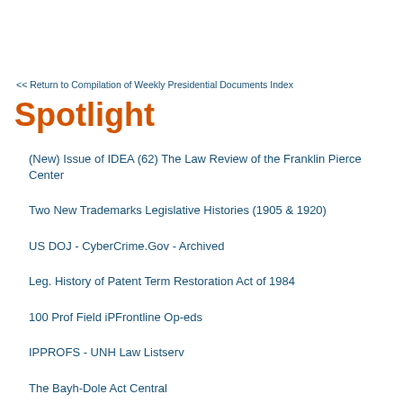<< Return to Compilation of Weekly Presidential Documents Index
Spotlight
(New) Issue of IDEA (62) The Law Review of the Franklin Pierce Center
Two New Trademarks Legislative Histories (1905 & 1920)
US DOJ - CyberCrime.Gov - Archived
Leg. History of Patent Term Restoration Act of 1984
100 Prof Field iPFrontline Op-eds
IPPROFS - UNH Law Listserv
The Bayh-Dole Act Central